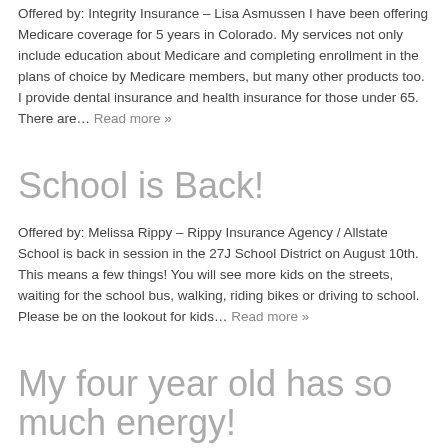Offered by: Integrity Insurance – Lisa Asmussen I have been offering Medicare coverage for 5 years in Colorado. My services not only include education about Medicare and completing enrollment in the plans of choice by Medicare members, but many other products too. I provide dental insurance and health insurance for those under 65.  There are… Read more »
School is Back!
Offered by: Melissa Rippy – Rippy Insurance Agency / Allstate School is back in session in the 27J School District on August 10th. This means a few things! You will see more kids on the streets, waiting for the school bus, walking, riding bikes or driving to school. Please be on the lookout for kids… Read more »
My four year old has so much energy!